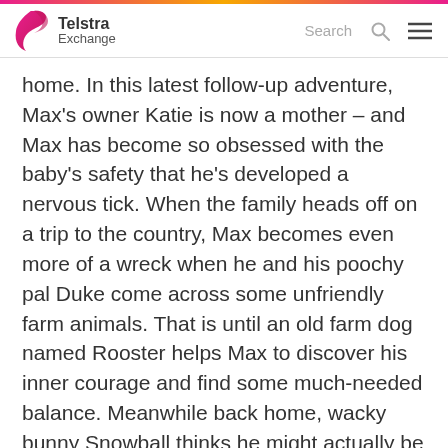Telstra Exchange
home. In this latest follow-up adventure, Max's owner Katie is now a mother – and Max has become so obsessed with the baby's safety that he's developed a nervous tick. When the family heads off on a trip to the country, Max becomes even more of a wreck when he and his poochy pal Duke come across some unfriendly farm animals. That is until an old farm dog named Rooster helps Max to discover his inner courage and find some much-needed balance. Meanwhile back home, wacky bunny Snowball thinks he might actually be a superhero when his owner starts to dress him up in a mask and cape – so much so that when Daisy turns up to ask for help,